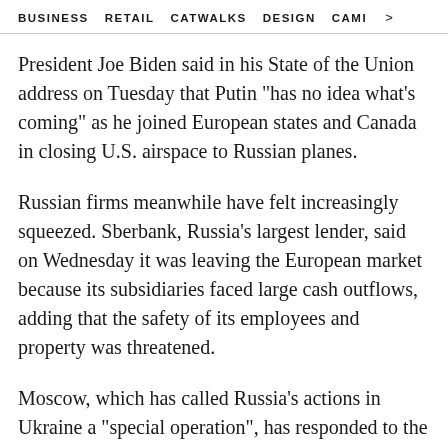BUSINESS   RETAIL   CATWALKS   DESIGN   CAMI >
President Joe Biden said in his State of the Union address on Tuesday that Putin "has no idea what's coming" as he joined European states and Canada in closing U.S. airspace to Russian planes.
Russian firms meanwhile have felt increasingly squeezed. Sberbank, Russia's largest lender, said on Wednesday it was leaving the European market because its subsidiaries faced large cash outflows, adding that the safety of its employees and property was threatened.
Moscow, which has called Russia's actions in Ukraine a "special operation", has responded to the growing exodus of Western investors by temporarily restricting Russian